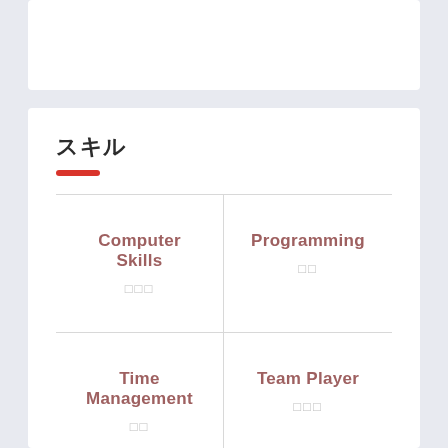スキル
Computer Skills □□□
Programming □□
Time Management □□
Team Player □□□